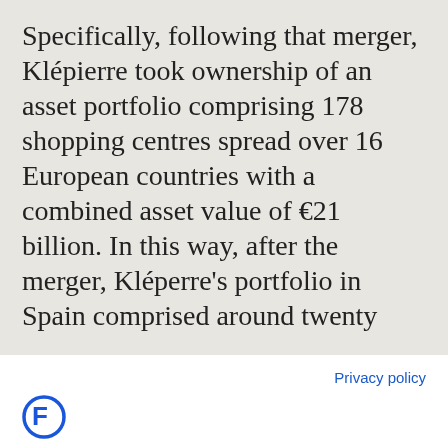Specifically, following that merger, Klépierre took ownership of an asset portfolio comprising 178 shopping centres spread over 16 European countries with a combined asset value of €21 billion. In this way, after the merger, Kléperre's portfolio in Spain comprised around twenty
Privacy policy
[Figure (logo): Blue stylized F/C letter logo]
We use cookies
We may place these for analysis of our visitor data, to improve our website, show personalised content and to give you a great website experience. For more information about the cookies we use open the settings.
Accept all
Deny
No, adjust